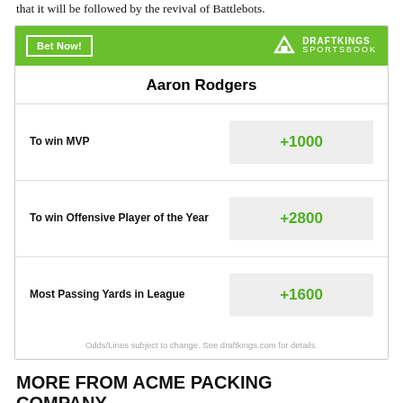that it will be followed by the revival of Battlebots.
[Figure (infographic): DraftKings Sportsbook betting widget for Aaron Rodgers showing odds: To win MVP +1000, To win Offensive Player of the Year +2800, Most Passing Yards in League +1600. Green header with Bet Now! button and DraftKings Sportsbook logo.]
MORE FROM ACME PACKING COMPANY
Packers defeat Saints 20-10 behind accurate Jordan